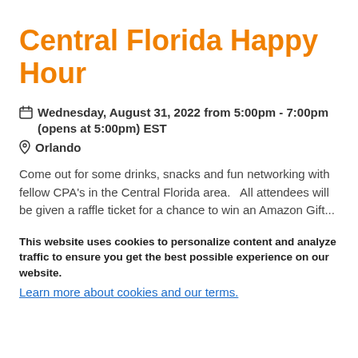Central Florida Happy Hour
Wednesday, August 31, 2022 from 5:00pm - 7:00pm (opens at 5:00pm) EST
Orlando
Come out for some drinks, snacks and fun networking with fellow CPA's in the Central Florida area.   All attendees will be given a raffle ticket for a chance to win an Amazon Gift...
This website uses cookies to personalize content and analyze traffic to ensure you get the best possible experience on our website.
Learn more about cookies and our terms.